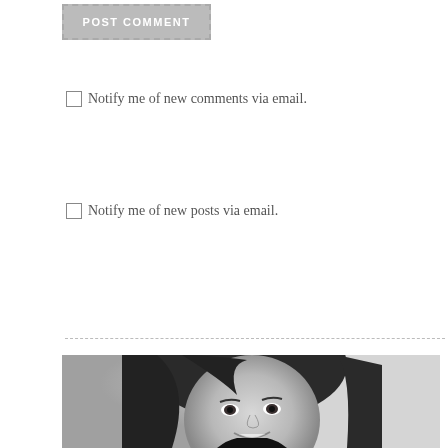[Figure (other): POST COMMENT button with dashed border on grey background]
Notify me of new comments via email.
Notify me of new posts via email.
[Figure (photo): Black and white portrait photo of a young woman with short dark hair, smiling]